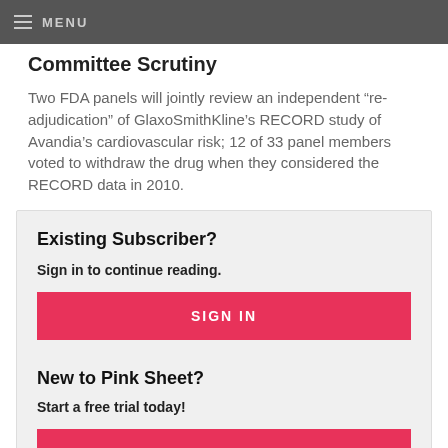MENU
Committee Scrutiny
Two FDA panels will jointly review an independent “re-adjudication” of GlaxoSmithKline’s RECORD study of Avandia’s cardiovascular risk; 12 of 33 panel members voted to withdraw the drug when they considered the RECORD data in 2010.
Existing Subscriber?
Sign in to continue reading.
SIGN IN
New to Pink Sheet?
Start a free trial today!